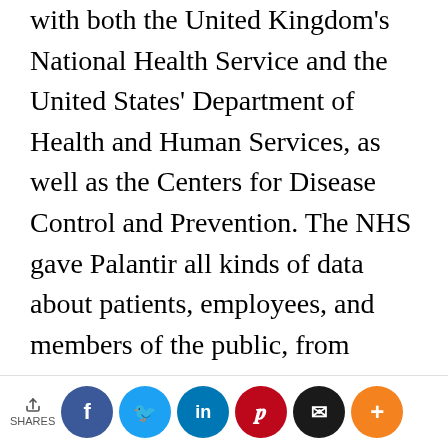with both the United Kingdom's National Health Service and the United States' Department of Health and Human Services, as well as the Centers for Disease Control and Prevention. The NHS gave Palantir all kinds of data about patients, employees, and members of the public, from contact information to details of gender, race, work, physical and mental health conditions, political and religious affiliation, and past criminal offences. Palantir first charged the NHS just £1 for its services — in return, Palantir was granted intellectual property rights and
SHARES [social share buttons: Facebook, Twitter, LinkedIn, Pinterest, Email, More]